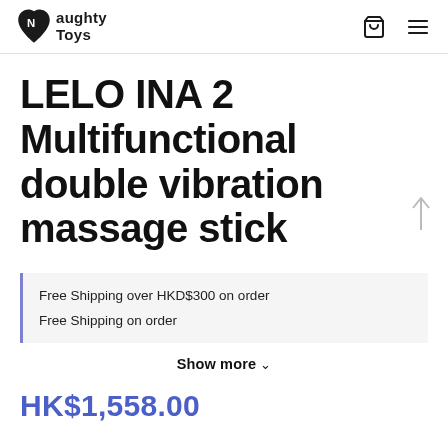Naughty Toys
LELO INA 2 Multifunctional double vibration massage stick
Free Shipping over HKD$300 on order
Free Shipping on order
Show more ∨
HK$1,558.00